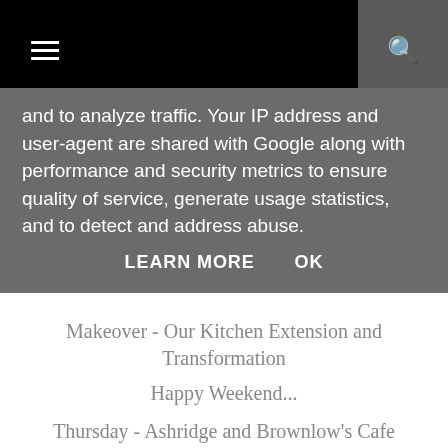☰  🔍
and to analyze traffic. Your IP address and user-agent are shared with Google along with performance and security metrics to ensure quality of service, generate usage statistics, and to detect and address abuse.
LEARN MORE   OK
Makeover - Our Kitchen Extension and Transformation
Happy Weekend...
Thursday - Ashridge and Brownlow's Cafe
Wedding - Brown Paper and Red Heart Stationery {pl...